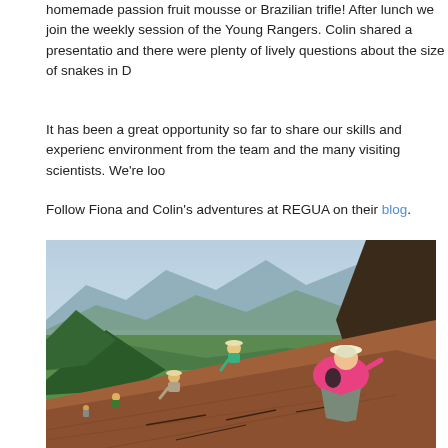homemade passion fruit mousse or Brazilian trifle! After lunch we join the weekly session of the Young Rangers. Colin shared a presentation and there were plenty of lively questions about the size of snakes in D
It has been a great opportunity so far to share our skills and experience environment from the team and the many visiting scientists. We're lo...
Follow Fiona and Colin's adventures at REGUA on their blog.
[Figure (photo): Outdoor photo of several people working on a steep reddish-brown hillside or slope, planting or doing conservation work. A man in a pink shirt and white hat is prominent in the foreground on the right. Other workers are visible in the background along the slope. A green valley and mountain range with hazy blue mountains are visible in the background.]